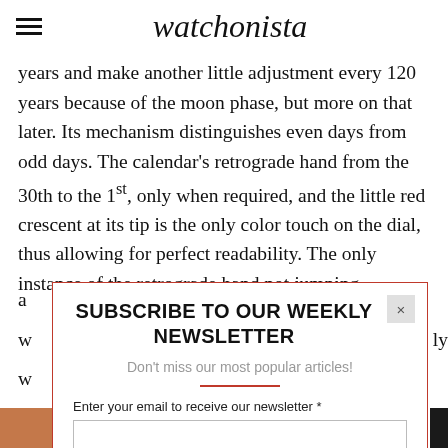watchonista
years and make another little adjustment every 120 years because of the moon phase, but more on that later. Its mechanism distinguishes even days from odd days. The calendar's retrograde hand from the 30th to the 1st, only when required, and the little red crescent at its tip is the only color touch on the dial, thus allowing for perfect readability. The only instance of the retrograde hand not jumping
SUBSCRIBE TO OUR WEEKLY NEWSLETTER
Don't miss our most popular articles!
Enter your email to receive our newsletter *